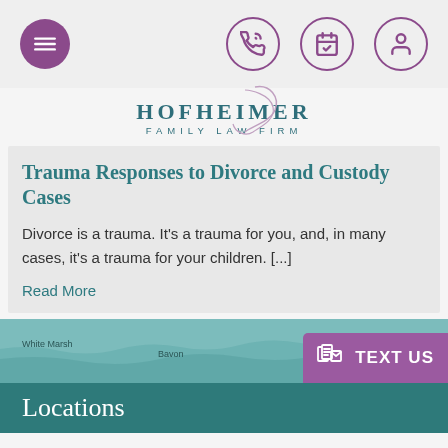Navigation icons: menu, phone, calendar, user
[Figure (logo): Hofheimer Family Law Firm logo with teal text and decorative script H]
Trauma Responses to Divorce and Custody Cases
Divorce is a trauma. It’s a trauma for you, and, in many cases, it’s a trauma for your children. [...]
Read More
[Figure (map): Partial map showing White Marsh and Bavon locations in teal color]
Locations